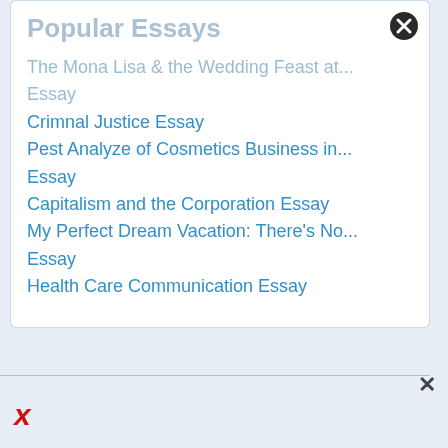Popular Essays
The Mona Lisa & the Wedding Feast at... Essay
Crimnal Justice Essay
Pest Analyze of Cosmetics Business in... Essay
Capitalism and the Corporation Essay
My Perfect Dream Vacation: There's No... Essay
Health Care Communication Essay